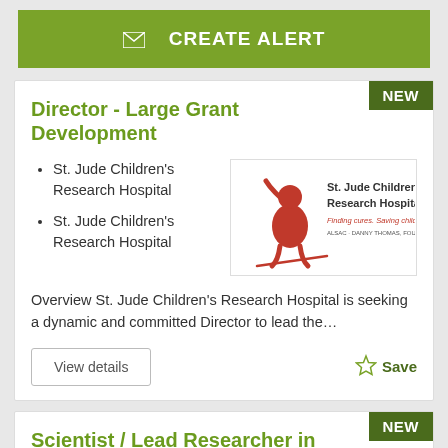[Figure (other): Green 'CREATE ALERT' button with envelope icon]
Director - Large Grant Development
St. Jude Children's Research Hospital
St. Jude Children's Research Hospital
[Figure (logo): St. Jude Children's Research Hospital logo with red child figure and tagline 'Finding cures. Saving children.']
Overview St. Jude Children's Research Hospital is seeking a dynamic and committed Director to lead the…
View details
Save
Scientist / Lead Researcher in Pathology